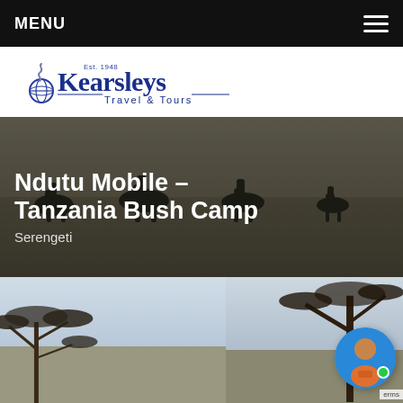MENU
[Figure (logo): Kearsleys Travel & Tours logo with Est. 1948, blue globe and snake graphic]
[Figure (photo): Safari hero image showing wildebeest silhouettes in a dusty Serengeti landscape with dark overlay]
Ndutu Mobile – Tanzania Bush Camp
Serengeti
[Figure (photo): Photo strip showing acacia trees against a light sky, and a tree on the right side]
[Figure (illustration): Chat avatar bubble showing a human figure icon with green online indicator]